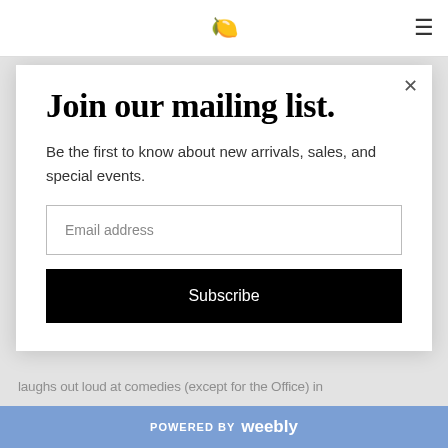🍋 ≡
Join our mailing list.
Be the first to know about new arrivals, sales, and special events.
Email address
Subscribe
laughs out loud at comedies (except for the Office) in
POWERED BY weebly